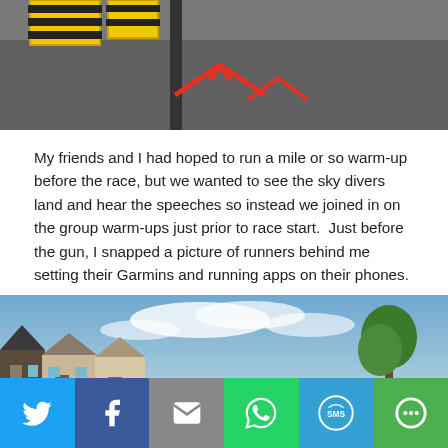[Figure (photo): Top portion of a photo showing a road/pavement with yellow barriers and orange/red directional arrows painted on the asphalt.]
My friends and I had hoped to run a mile or so warm-up before the race, but we wanted to see the sky divers land and hear the speeches so instead we joined in on the group warm-ups just prior to race start.  Just before the gun, I snapped a picture of runners behind me setting their Garmins and running apps on their phones.
[Figure (photo): Wide-angle photo showing a large crowd of runners at the start of a race on a residential street, with houses on the left, trees on the right, and a partly cloudy blue sky above.]
[Figure (infographic): Share bar with six buttons: Twitter (blue), Facebook (dark blue), Email (grey), WhatsApp (green), SMS (blue), and More (green).]